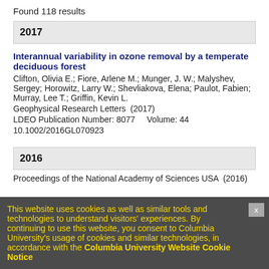Found 118 results
2017
Interannual variability in ozone removal by a temperate deciduous forest
Clifton, Olivia E.; Fiore, Arlene M.; Munger, J. W.; Malyshev, Sergey; Horowitz, Larry W.; Shevliakova, Elena; Paulot, Fabien; Murray, Lee T.; Griffin, Kevin L.
Geophysical Research Letters  (2017)
LDEO Publication Number: 8077    Volume: 44
10.1002/2016GL070923
2016
Proceedings of the National Academy of Sciences USA  (2016)
This website uses cookies as well as similar tools and technologies to understand visitors' experiences. By continuing to use this website, you consent to Columbia University's usage of cookies and similar technologies, in accordance with the Columbia University Website Cookie Notice